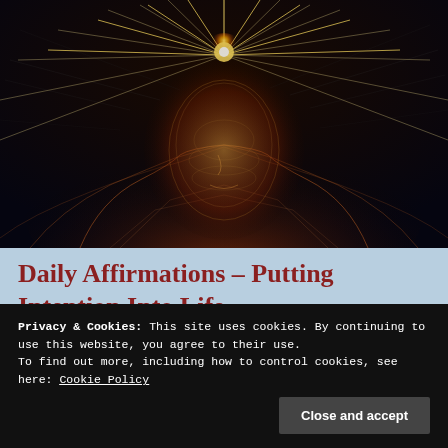[Figure (illustration): Digital art illustration of a glowing humanoid figure with a luminous golden energy burst emanating from the top of its head, rendered as a wireframe mesh against a dark background with radiant light streaks.]
Daily Affirmations – Putting Intention Into Life.
Privacy & Cookies: This site uses cookies. By continuing to use this website, you agree to their use. To find out more, including how to control cookies, see here: Cookie Policy
[Figure (photo): Partial view of a person in white clothing, visible at the bottom of the page beneath the cookie banner.]